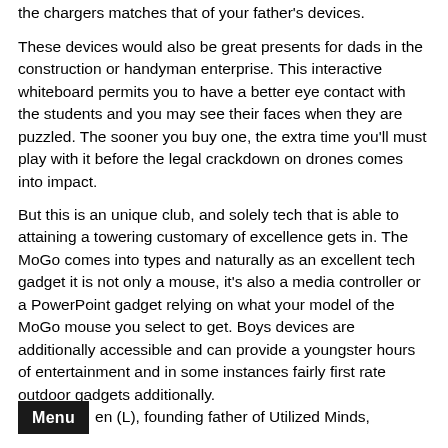the chargers matches that of your father's devices.
These devices would also be great presents for dads in the construction or handyman enterprise. This interactive whiteboard permits you to have a better eye contact with the students and you may see their faces when they are puzzled. The sooner you buy one, the extra time you'll must play with it before the legal crackdown on drones comes into impact.
But this is an unique club, and solely tech that is able to attaining a towering customary of excellence gets in. The MoGo comes into types and naturally as an excellent tech gadget it is not only a mouse, it's also a media controller or a PowerPoint gadget relying on what your model of the MoGo mouse you select to get. Boys devices are additionally accessible and can provide a youngster hours of entertainment and in some instances fairly first rate outdoor gadgets additionally.
B Menu en (L), founding father of Utilized Minds,